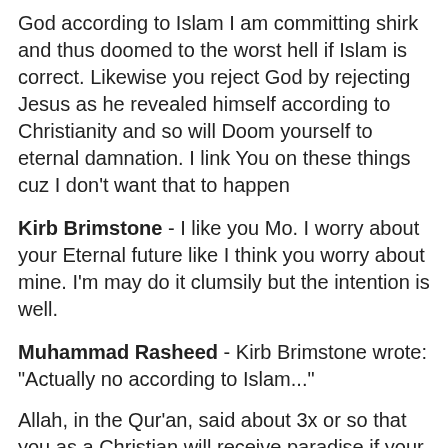God according to Islam I am committing shirk and thus doomed to the worst hell if Islam is correct. Likewise you reject God by rejecting Jesus as he revealed himself according to Christianity and so will Doom yourself to eternal damnation. I link You on these things cuz I don't want that to happen
Kirb Brimstone - I like you Mo. I worry about your Eternal future like I think you worry about mine. I'm may do it clumsily but the intention is well.
Muhammad Rasheed - Kirb Brimstone wrote: "Actually no according to Islam..."
Allah, in the Qur'an, said about 3x or so that you as a Christian will receive paradise if your good deeds outweigh your bad. That means for every time you worship Jesus, you must do at least two good deeds to match it to make sure your good record is heavier.
Muhammad Rasheed - Kirb Brimstone wrote: "...as he revealed himself according to Christianity..."